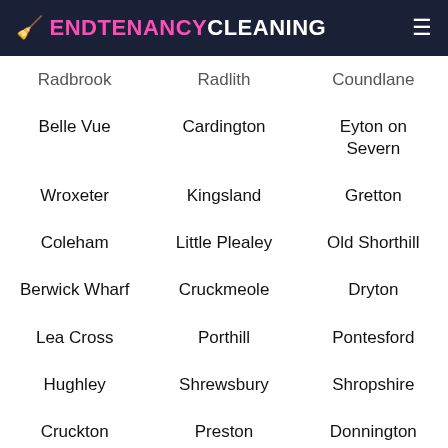ENDTENANCYCLEANING
Radbrook
Radlith
Coundlane
Belle Vue
Cardington
Eyton on Severn
Wroxeter
Kingsland
Gretton
Coleham
Little Plealey
Old Shorthill
Berwick Wharf
Cruckmeole
Dryton
Lea Cross
Porthill
Pontesford
Hughley
Shrewsbury
Shropshire
Cruckton
Preston
Donnington
Cherry Orchard
Copthorne
Lea